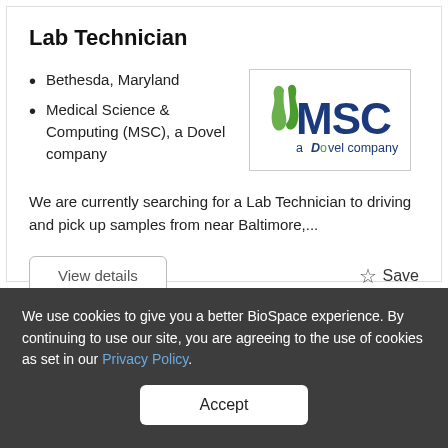Lab Technician
Bethesda, Maryland
Medical Science & Computing (MSC), a Dovel company
[Figure (logo): MSC a Dovel company logo — stylized green flame/leaf mark beside large blue MSC letters and 'a Dovel company' tagline]
We are currently searching for a Lab Technician to driving and pick up samples from near Baltimore,...
View details
☆ Save
We use cookies to give you a better BioSpace experience. By continuing to use our site, you are agreeing to the use of cookies as set in our Privacy Policy.
Accept